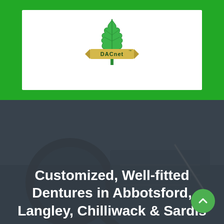[Figure (logo): DACnet logo — green maple leaf with 'DACnet™' text on a gold ribbon banner, inside a white box on a green background]
Customized, Well-fitted Dentures in Abbotsford, Langley, Chilliwack & Sardis